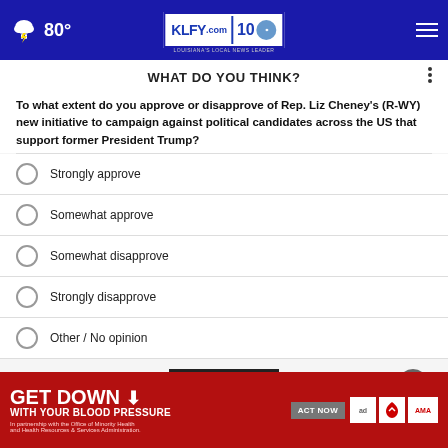80° KLFY.com 10
WHAT DO YOU THINK?
To what extent do you approve or disapprove of Rep. Liz Cheney's (R-WY) new initiative to campaign against political candidates across the US that support former President Trump?
Strongly approve
Somewhat approve
Somewhat disapprove
Strongly disapprove
Other / No opinion
[Figure (other): NEXT button and close (X) button]
* By ... your ... read...
[Figure (other): GET DOWN WITH YOUR BLOOD PRESSURE advertisement banner with ACT NOW button and ad/AMA logos]